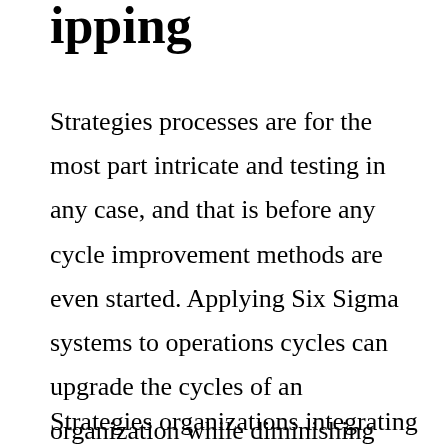…ipping
Strategies processes are for the most part intricate and testing in any case, and that is before any cycle improvement methods are even started. Applying Six Sigma systems to operations cycles can upgrade the cycles of an organization while diminishing variety and further developing the lengthy inventory network.
Strategies organizations integrating Six